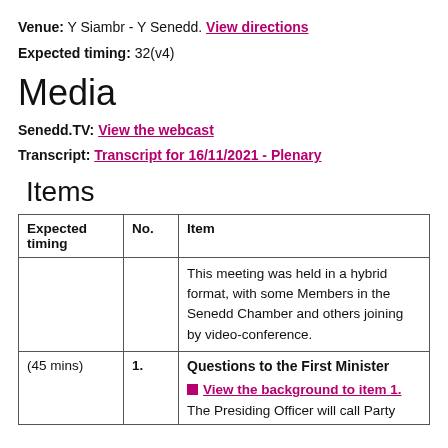Venue: Y Siambr - Y Senedd. View directions
Expected timing: 32(v4)
Media
Senedd.TV: View the webcast
Transcript: Transcript for 16/11/2021 - Plenary
Items
| Expected timing | No. | Item |
| --- | --- | --- |
|  |  | This meeting was held in a hybrid format, with some Members in the Senedd Chamber and others joining by video-conference. |
| (45 mins) | 1. | Questions to the First Minister
View the background to item 1.
The Presiding Officer will call Party |